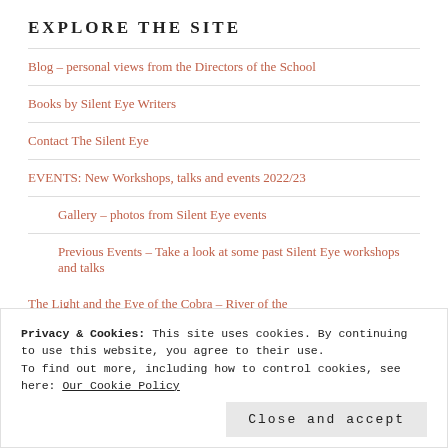EXPLORE THE SITE
Blog – personal views from the Directors of the School
Books by Silent Eye Writers
Contact The Silent Eye
EVENTS: New Workshops, talks and events 2022/23
Gallery – photos from Silent Eye events
Previous Events – Take a look at some past Silent Eye workshops and talks
Privacy & Cookies: This site uses cookies. By continuing to use this website, you agree to their use.
To find out more, including how to control cookies, see here: Our Cookie Policy
Close and accept
The Light and the Eye of the Cobra – River of the